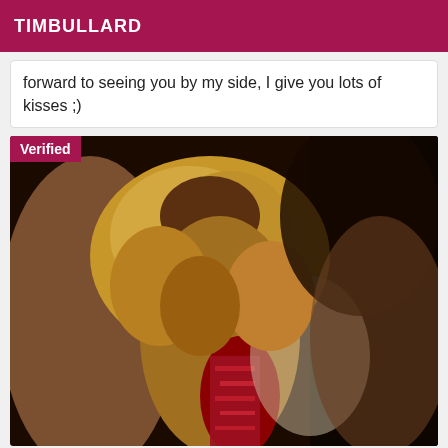TIMBULLARD
forward to seeing you by my side, I give you lots of kisses ;)
[Figure (photo): Photo of a person with curly blonde/golden hair wearing a red and black lace outfit, viewed from behind/side angle. A 'Verified' badge appears in the top-left corner of the image.]